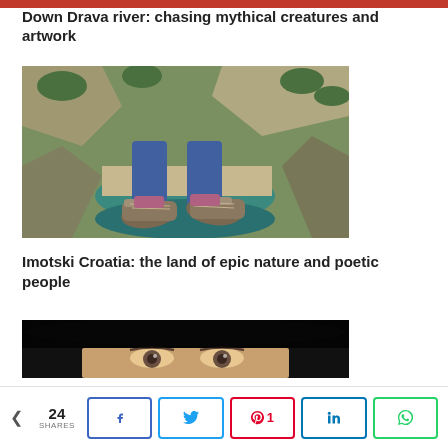Down Drava river: chasing mythical creatures and artwork
[Figure (photo): Aerial/looking-down view from a cliff of person's legs and hiking shoes dangling over a turquoise river gorge with rocky canyon walls]
Imotski Croatia: the land of epic nature and poetic people
[Figure (photo): Close-up portrait photo of a person wearing a dark hat, only the eyes visible]
24 SHARES
Facebook share button, Twitter share button, Pinterest share button (1), LinkedIn share button, WhatsApp share button